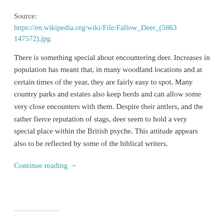Source:
https://en.wikipedia.org/wiki/File:Fallow_Deer_(5863147572).jpg
There is something special about encountering deer. Increases in population has meant that, in many woodland locations and at certain times of the year, they are fairly easy to spot. Many country parks and estates also keep herds and can allow some very close encounters with them. Despite their antlers, and the rather fierce reputation of stags, deer seem to hold a very special place within the British psyche. This attitude appears also to be reflected by some of the biblical writers.
Continue reading →